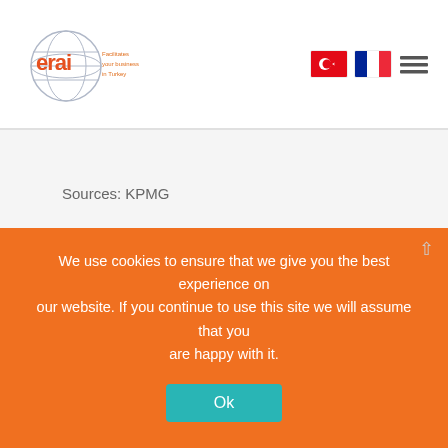erai — Facilitates your business in Turkey
Sources: KPMG
http://www.ieis.org.tr/ieis/en/
If you would like to continue reading about the
We use cookies to ensure that we give you the best experience on our website. If you continue to use this site we will assume that you are happy with it.